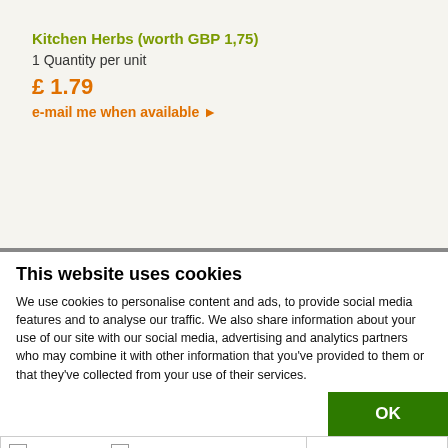Kitchen Herbs (worth GBP 1,75)
1 Quantity per unit
£ 1.79
e-mail me when available ▶
This website uses cookies
We use cookies to personalise content and ads, to provide social media features and to analyse our traffic. We also share information about your use of our site with our social media, advertising and analytics partners who may combine it with other information that you've provided to them or that they've collected from your use of their services.
OK
Necessary  Preferences  Statistics  Marketing  Show details